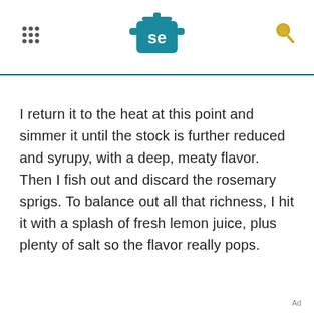Serious Eats header with logo and navigation icons
I return it to the heat at this point and simmer it until the stock is further reduced and syrupy, with a deep, meaty flavor. Then I fish out and discard the rosemary sprigs. To balance out all that richness, I hit it with a splash of fresh lemon juice, plus plenty of salt so the flavor really pops.
Ad